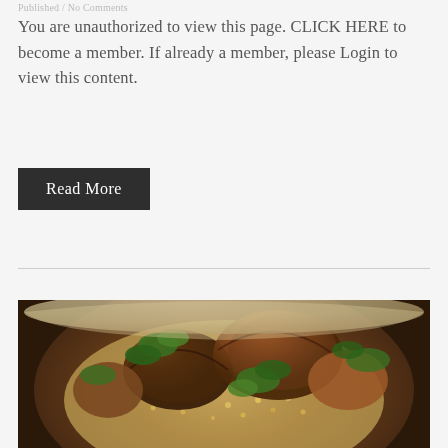Published / No Comments
You are unauthorized to view this page. CLICK HERE to become a member. If already a member, please Login to view this content.
Read More
[Figure (photo): A bowl of mushroom risotto or grain dish with sautéed mushrooms and fresh parsley garnish, photographed from above at an angle.]